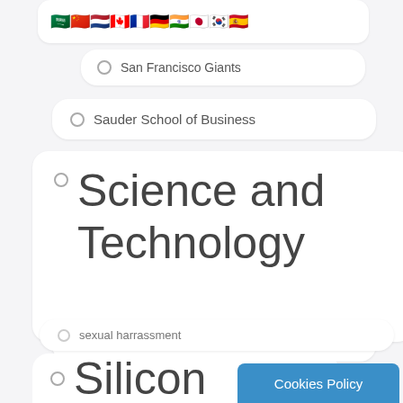[Figure (illustration): Row of country flag emoji icons (Saudi Arabia, China, Netherlands, Canada, France, Germany, India, Japan, South Korea, Spain) at the top of the page, partially cropped]
San Francisco Giants
Sauder School of Business
Science and Technology
Search Engine Optimization
Semiconductors
sexual harrassment
Sharing Economy
Silicon
Cookies Policy